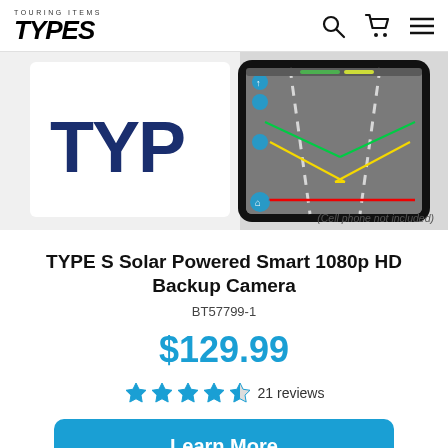TOURING ITEMS TYPE S
[Figure (photo): Product photo of TYPE S Solar Powered Smart 1080p HD Backup Camera showing the camera device and a smartphone displaying backup camera view with parking guidelines]
(Cell phone not included)
TYPE S Solar Powered Smart 1080p HD Backup Camera
BT57799-1
$129.99
21 reviews
Learn More